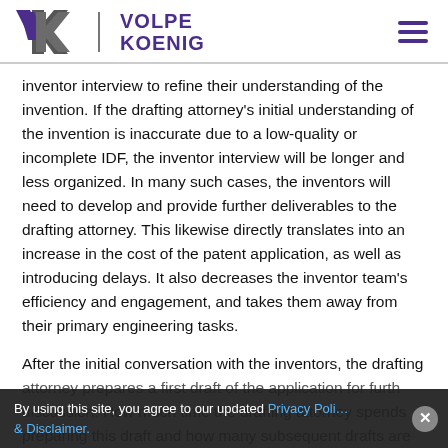Volpe Koenig
inventor interview to refine their understanding of the invention. If the drafting attorney's initial understanding of the invention is inaccurate due to a low-quality or incomplete IDF, the inventor interview will be longer and less organized. In many such cases, the inventors will need to develop and provide further deliverables to the drafting attorney. This likewise directly translates into an increase in the cost of the patent application, as well as introducing delays. It also decreases the inventor team's efficiency and engagement, and takes them away from their primary engineering tasks.
After the initial conversation with the inventors, the drafting attorney prepares a first draft of the application for further discussion. How much time the drafting attorney spends preparing this draft and how many subsequent drafts are
By using this site, you agree to our updated Privacy Policy & Disclaimer.